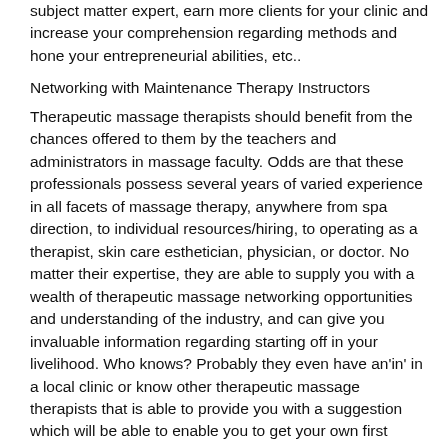subject matter expert, earn more clients for your clinic and increase your comprehension regarding methods and hone your entrepreneurial abilities, etc..
Networking with Maintenance Therapy Instructors
Therapeutic massage therapists should benefit from the chances offered to them by the teachers and administrators in massage faculty. Odds are that these professionals possess several years of varied experience in all facets of massage therapy, anywhere from spa direction, to individual resources/hiring, to operating as a therapist, skin care esthetician, physician, or doctor. No matter their expertise, they are able to supply you with a wealth of therapeutic massage networking opportunities and understanding of the industry, and can give you invaluable information regarding starting off in your livelihood. Who knows? Probably they even have an'in' in a local clinic or know other therapeutic massage therapists that is able to provide you with a suggestion which will be able to enable you to get your own first occupation for a massage therapist massage edinburg McAllen.
Even after you finish massage faculty, stay in contact with your classmates and massage therapy instructors by simply fulfilling to get a month-to-month lunch or convention, and maybe by simply residing intouch via linked in or face-book, or another sort of societal network to get massage networking. Linked in is a great way for therapeutic massage therapists to learn about chances within the specialty and